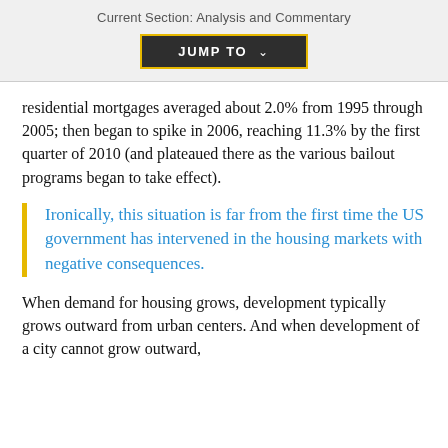Current Section: Analysis and Commentary
JUMP TO
residential mortgages averaged about 2.0% from 1995 through 2005; then began to spike in 2006, reaching 11.3% by the first quarter of 2010 (and plateaued there as the various bailout programs began to take effect).
Ironically, this situation is far from the first time the US government has intervened in the housing markets with negative consequences.
When demand for housing grows, development typically grows outward from urban centers. And when development of a city cannot grow outward,